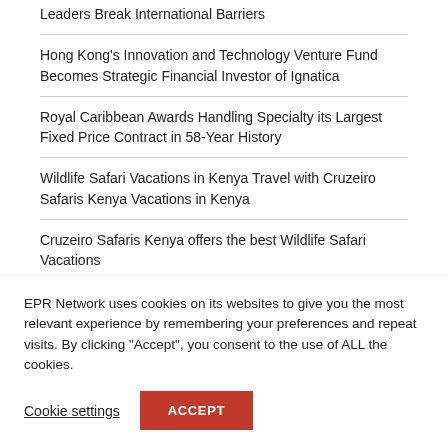Leaders Break International Barriers
Hong Kong's Innovation and Technology Venture Fund Becomes Strategic Financial Investor of Ignatica
Royal Caribbean Awards Handling Specialty its Largest Fixed Price Contract in 58-Year History
Wildlife Safari Vacations in Kenya Travel with Cruzeiro Safaris Kenya Vacations in Kenya
Cruzeiro Safaris Kenya offers the best Wildlife Safari Vacations
EPR Network uses cookies on its websites to give you the most relevant experience by remembering your preferences and repeat visits. By clicking "Accept", you consent to the use of ALL the cookies.
Cookie settings
ACCEPT